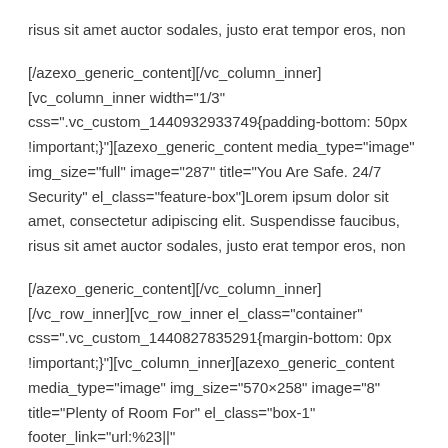risus sit amet auctor sodales, justo erat tempor eros, non
[/azexo_generic_content][/vc_column_inner][vc_column_inner width="1/3" css=".vc_custom_1440932933749{padding-bottom: 50px !important;}"][azexo_generic_content media_type="image" img_size="full" image="287" title="You Are Safe. 24/7 Security" el_class="feature-box"]Lorem ipsum dolor sit amet, consectetur adipiscing elit. Suspendisse faucibus, risus sit amet auctor sodales, justo erat tempor eros, non
[/azexo_generic_content][/vc_column_inner][/vc_row_inner][vc_row_inner el_class="container" css=".vc_custom_1440827835291{margin-bottom: 0px !important;}"][vc_column_inner][azexo_generic_content media_type="image" img_size="570×258" image="8" title="Plenty of Room For" el_class="box-1" footer_link="url:%23||" footer="QmUlMjB0aGUlMjBmaXJzdCUyMHRvJTlwa25vdyUyMQ==" meta="RXZlcnlvbmUlMjBFdmVuJTlwRm9yJTlwWW91ciUyMENhcg==" sr="enter top, move 30px"]
We understand your privacy. Every person should have his own space where he can live his own private live. Even the smallest apartments are big and space enough to feel comfortable. And we think that your car